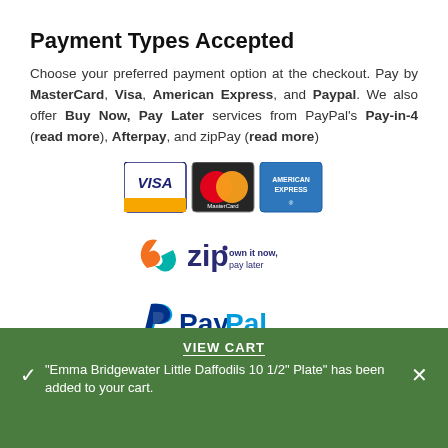Payment Types Accepted
Choose your preferred payment option at the checkout. Pay by MasterCard, Visa, American Express, and Paypal. We also offer Buy Now, Pay Later services from PayPal's Pay-in-4 (read more), Afterpay, and zipPay (read more)
[Figure (logo): Visa, MasterCard, and American Express card logos displayed side by side]
[Figure (logo): Zip logo with tagline 'own it now, pay later']
[Figure (logo): PayPal logo]
VIEW CART
"Emma Bridgewater Little Daffodils 10 1/2" Plate" has been added to your cart.